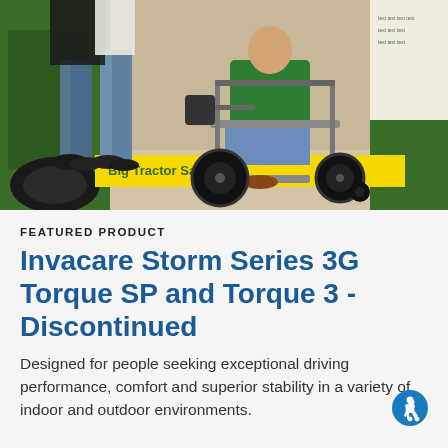[Figure (photo): A person in a power wheelchair navigating indoors near green John Deere farm equipment, with other people standing nearby and a 'Big Tractor Savi...' promotional banner visible in the background.]
FEATURED PRODUCT
Invacare Storm Series 3G Torque SP and Torque 3 - Discontinued
Designed for people seeking exceptional driving performance, comfort and superior stability in a variety of indoor and outdoor environments.